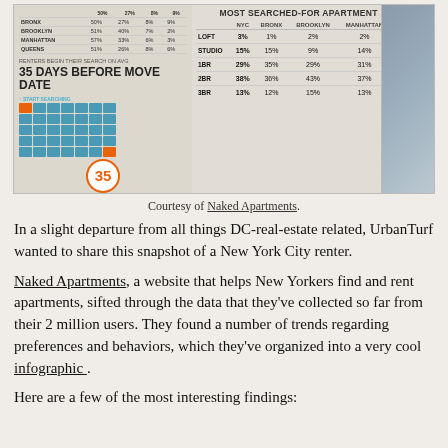[Figure (infographic): Infographic from Naked Apartments showing most searched-for apartment sizes in NYC, Bronx, Brooklyn, Manhattan, Queens, and a calendar showing renters begin search 35 days before move date. Left panel has a small table with borough data and a calendar graphic. Right panel has a table: LOFT (3%,1%,2%,2%,1%), STUDIO (15%,15%,9%,14%,10%), 1BR (29%,35%,29%,31%,35%), 2BR (38%,36%,43%,37%,42%), 3BR (13%,12%,15%,13%,12%).]
Courtesy of Naked Apartments.
In a slight departure from all things DC-real-estate related, UrbanTurf wanted to share this snapshot of a New York City renter.
Naked Apartments, a website that helps New Yorkers find and rent apartments, sifted through the data that they've collected so far from their 2 million users. They found a number of trends regarding preferences and behaviors, which they've organized into a very cool infographic .
Here are a few of the most interesting findings: